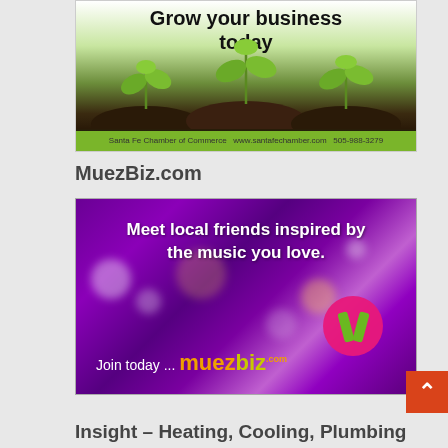[Figure (photo): Santa Fe Chamber of Commerce advertisement showing green seedlings growing from dark soil with text 'Grow your business today' and footer with website and phone number]
MuezBiz.com
[Figure (photo): MuezBiz.com advertisement with purple concert crowd background, text 'Meet local friends inspired by the music you love.' and 'Join today ... muezbiz.com' with logo]
Insight – Heating, Cooling, Plumbing